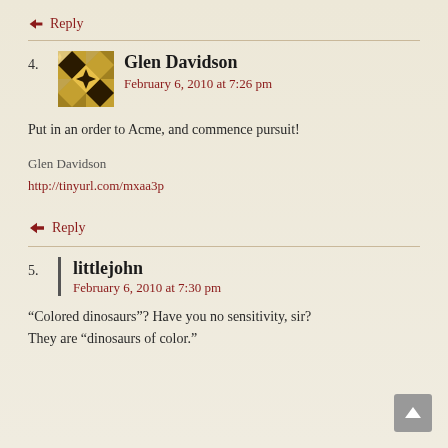↳ Reply
4. Glen Davidson
February 6, 2010 at 7:26 pm
Put in an order to Acme, and commence pursuit!
Glen Davidson
http://tinyurl.com/mxaa3p
↳ Reply
5. littlejohn
February 6, 2010 at 7:30 pm
“Colored dinosaurs”? Have you no sensitivity, sir?
They are “dinosaurs of color.”